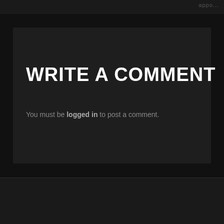[Figure (screenshot): Dark top image strip with partial text visible on the right side]
WRITE A COMMENT
You must be logged in to post a comment.
[Figure (screenshot): Footer section with scroll-to-top arrow and horizontal line, plus partial logo at bottom showing '10K' style text in gray and yellow]